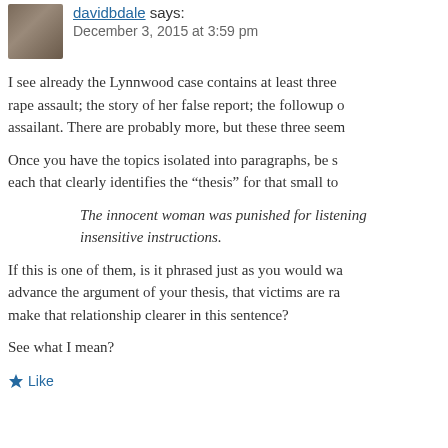davidbdale says:
December 3, 2015 at 3:59 pm
I see already the Lynnwood case contains at least three rape assault; the story of her false report; the followup assailant. There are probably more, but these three seem
Once you have the topics isolated into paragraphs, be s each that clearly identifies the “thesis” for that small to
The innocent woman was punished for listening insensitive instructions.
If this is one of them, is it phrased just as you would wa advance the argument of your thesis, that victims are ra make that relationship clearer in this sentence?
See what I mean?
Like